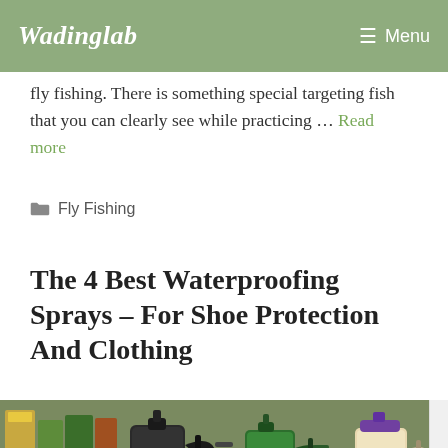Wadinglab | Menu
fly fishing. There is something special targeting fish that you can clearly see while practicing … Read more
Fly Fishing
The 4 Best Waterproofing Sprays – For Shoe Protection And Clothing
[Figure (photo): Photo of multiple waterproofing spray bottles with trigger sprayers in various colors (black, green, beige/cream) arranged together]